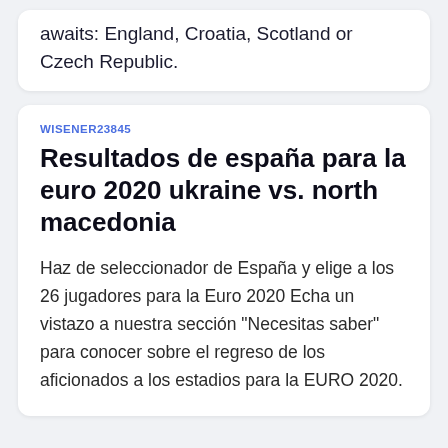awaits: England, Croatia, Scotland or Czech Republic.
WISENER23845
Resultados de españa para la euro 2020 ukraine vs. north macedonia
Haz de seleccionador de España y elige a los 26 jugadores para la Euro 2020 Echa un vistazo a nuestra sección "Necesitas saber" para conocer sobre el regreso de los aficionados a los estadios para la EURO 2020.